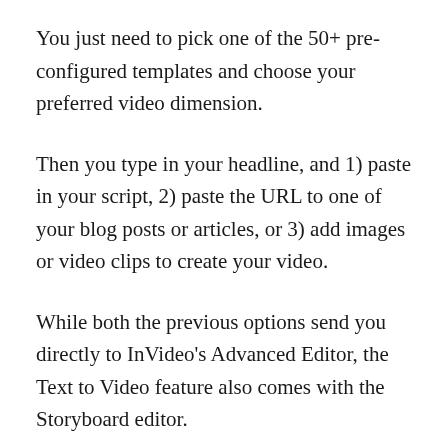You just need to pick one of the 50+ pre-configured templates and choose your preferred video dimension.
Then you type in your headline, and 1) paste in your script, 2) paste the URL to one of your blog posts or articles, or 3) add images or video clips to create your video.
While both the previous options send you directly to InVideo’s Advanced Editor, the Text to Video feature also comes with the Storyboard editor.